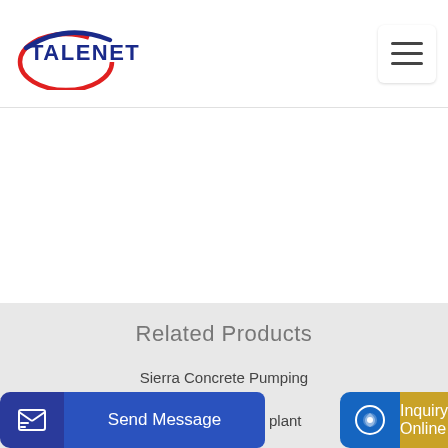TALENET
Related Products
Sierra Concrete Pumping
Wheeled Series Mobile Batching Asphalt Plant
plant
Send Message
Inquiry Online